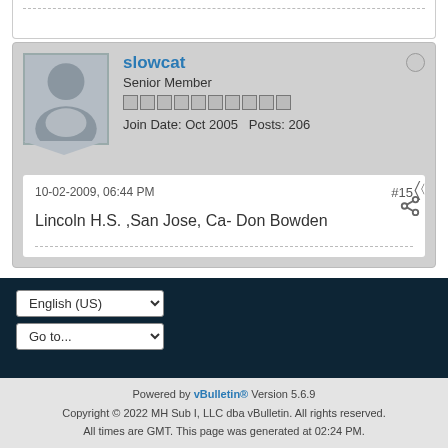slowcat
Senior Member
Join Date: Oct 2005  Posts: 206
10-02-2009, 06:44 PM
#15
Lincoln H.S. ,San Jose, Ca- Don Bowden
1  2  3  4  5  Next
English (US)
Go to...
Powered by vBulletin® Version 5.6.9
Copyright © 2022 MH Sub I, LLC dba vBulletin. All rights reserved.
All times are GMT. This page was generated at 02:24 PM.